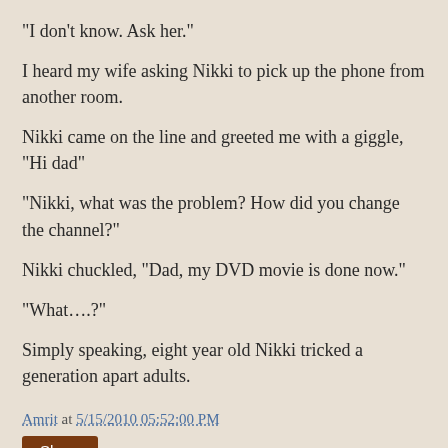“I don’t know. Ask her.”
I heard my wife asking Nikki to pick up the phone from another room.
Nikki came on the line and greeted me with a giggle, “Hi dad”
“Nikki, what was the problem? How did you change the channel?”
Nikki chuckled, “Dad, my DVD movie is done now.”
“What….?”
Simply speaking, eight year old Nikki tricked a generation apart adults.
Amrit at 5/15/2010 05:52:00 PM
Share